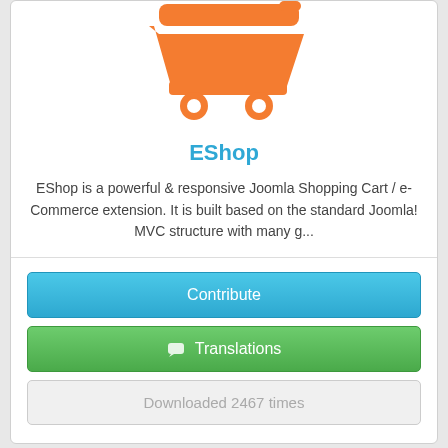[Figure (illustration): Orange shopping cart icon at the top of the card]
EShop
EShop is a powerful & responsive Joomla Shopping Cart / e-Commerce extension. It is built based on the standard Joomla! MVC structure with many g...
Contribute
Translations
Downloaded 2467 times